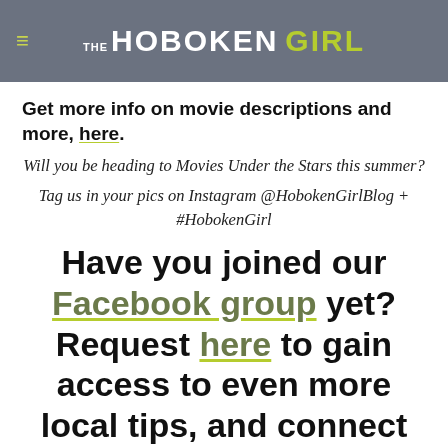THE HOBOKEN GIRL
Get more info on movie descriptions and more, here.
Will you be heading to Movies Under the Stars this summer?
Tag us in your pics on Instagram @HobokenGirlBlog + #HobokenGirl
Have you joined our Facebook group yet? Request here to gain access to even more local tips, and connect with